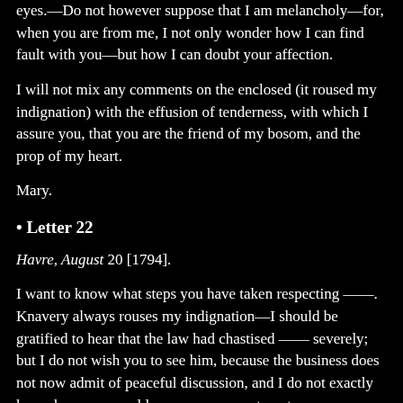eyes.—Do not however suppose that I am melancholy—for, when you are from me, I not only wonder how I can find fault with you—but how I can doubt your affection.
I will not mix any comments on the enclosed (it roused my indignation) with the effusion of tenderness, with which I assure you, that you are the friend of my bosom, and the prop of my heart.
Mary.
• Letter 22
Havre, August 20 [1794].
I want to know what steps you have taken respecting ——. Knavery always rouses my indignation—I should be gratified to hear that the law had chastised —— severely; but I do not wish you to see him, because the business does not now admit of peaceful discussion, and I do not exactly know how you would express your contempt.
Pray ask some questions about Tallien—I am still pleased with the dignity of his conduct.—The other day, in the cause of humanity, he made use of a degree of address, which I admire—and mean to point out to you, as one of the few